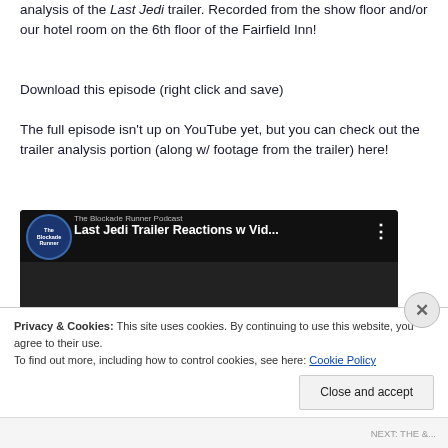analysis of the Last Jedi trailer. Recorded from the show floor and/or our hotel room on the 6th floor of the Fairfield Inn!
Download this episode (right click and save)
The full episode isn't up on YouTube yet, but you can check out the trailer analysis portion (along w/ footage from the trailer) here!
[Figure (screenshot): YouTube video embed thumbnail for 'Last Jedi Trailer Reactions w Vid...' from The Blockade Runner Podcast, showing a dark scene with a red play button overlay]
Privacy & Cookies: This site uses cookies. By continuing to use this website, you agree to their use.
To find out more, including how to control cookies, see here: Cookie Policy
Close and accept